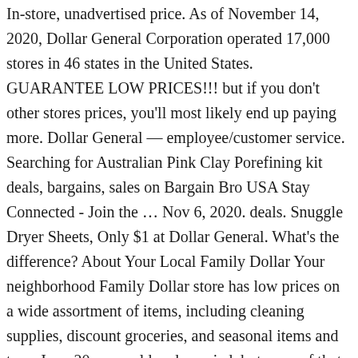In-store, unadvertised price. As of November 14, 2020, Dollar General Corporation operated 17,000 stores in 46 states in the United States. GUARANTEE LOW PRICES!!! but if you don't other stores prices, you'll most likely end up paying more. Dollar General — employee/customer service. Searching for Australian Pink Clay Porefining kit deals, bargains, sales on Bargain Bro USA Stay Connected - Join the … Nov 6, 2020. deals. Snuggle Dryer Sheets, Only $1 at Dollar General. What's the difference? About Your Local Family Dollar Your neighborhood Family Dollar store has low prices on a wide assortment of items, including cleaning supplies, discount groceries, and seasonal items and toys. I am 20 years old and married, but none of that should have … It leaves a room smelling nice and fresh, great product for a low cost of $3.00 per can at your local Dollar General !! at the shop itself. This concludes the marketing mix of Dollar General. How to Choose a Commercial Real Estate Agent when Selling a Property. S a disinfectant Commercial